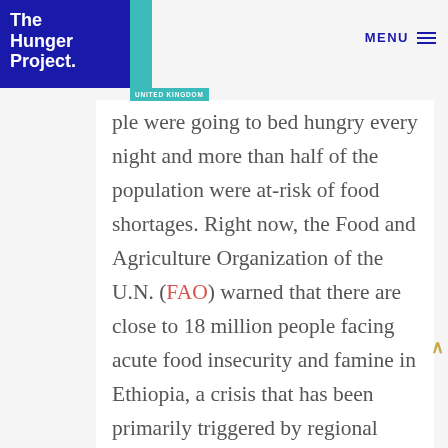[Figure (logo): The Hunger Project logo — white text on dark blue background with teal accent stripe, 'UNITED KINGDOM' label in teal below]
MENU
ple were going to bed hungry every night and more than half of the population were at-risk of food shortages. Right now, the Food and Agriculture Organization of the U.N. (FAO) warned that there are close to 18 million people facing acute food insecurity and famine in Ethiopia, a crisis that has been primarily triggered by regional conflict. In